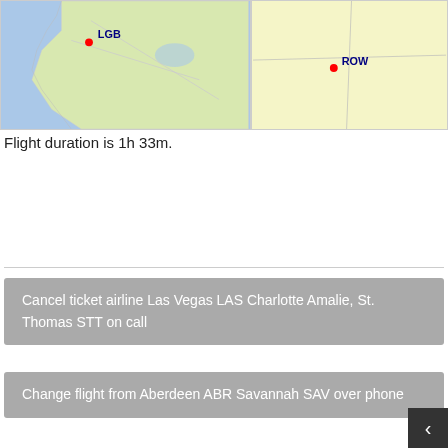[Figure (map): Two-panel map showing LGB airport marker on left (coastal California area in blue) and ROW airport marker on right (yellow/beige land area). Red dot markers with blue text labels.]
Flight duration is 1h 33m.
Cancel ticket airline Las Vegas LAS Charlotte Amalie, St. Thomas STT on call
Rebooking airline ticket Pensacola PNS Washington, D.C. /Arlington County DCA over the phone
Cancel ticket airline Fairbanks FAI - Morgantown MGW by the call
Change flight from Aberdeen ABR Savannah SAV over phone